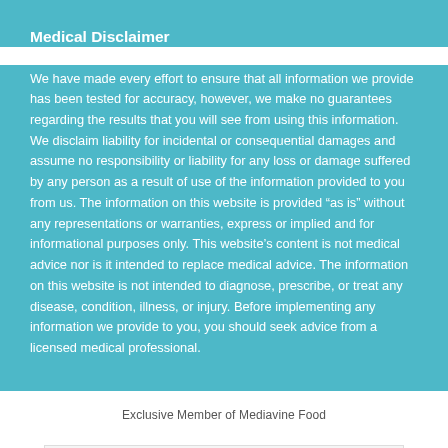Medical Disclaimer
We have made every effort to ensure that all information we provide has been tested for accuracy, however, we make no guarantees regarding the results that you will see from using this information. We disclaim liability for incidental or consequential damages and assume no responsibility or liability for any loss or damage suffered by any person as a result of use of the information provided to you from us. The information on this website is provided “as is” without any representations or warranties, express or implied and for informational purposes only. This website’s content is not medical advice nor is it intended to replace medical advice. The information on this website is not intended to diagnose, prescribe, or treat any disease, condition, illness, or injury. Before implementing any information we provide to you, you should seek advice from a licensed medical professional.
Exclusive Member of Mediavine Food
[Figure (other): Advertisement banner showing dine-in and curbside pickup options with logos]